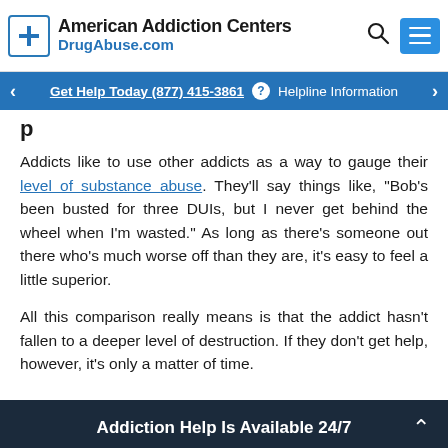American Addiction Centers DrugAbuse.com
Get Help Today (877) 415-3861 ? Helpline Information
Addicts like to use other addicts as a way to gauge their level of substance abuse. They'll say things like, “Bob’s been busted for three DUIs, but I never get behind the wheel when I’m wasted.” As long as there’s someone out there who’s much worse off than they are, it’s easy to feel a little superior.
All this comparison really means is that the addict hasn’t fallen to a deeper level of destruction. If they don’t get help, however, it’s only a matter of time.
Addiction Help Is Available 24/7